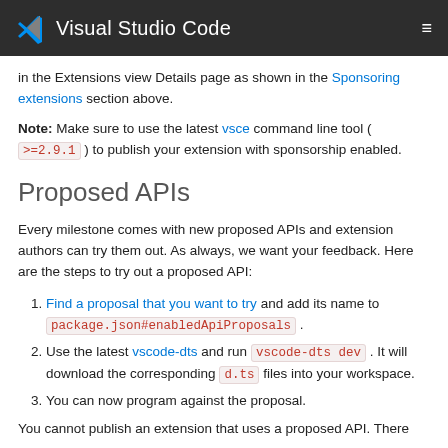Visual Studio Code
in the Extensions view Details page as shown in the Sponsoring extensions section above.
Note: Make sure to use the latest vsce command line tool ( >=2.9.1 ) to publish your extension with sponsorship enabled.
Proposed APIs
Every milestone comes with new proposed APIs and extension authors can try them out. As always, we want your feedback. Here are the steps to try out a proposed API:
Find a proposal that you want to try and add its name to package.json#enabledApiProposals .
Use the latest vscode-dts and run vscode-dts dev . It will download the corresponding d.ts files into your workspace.
You can now program against the proposal.
You cannot publish an extension that uses a proposed API. There